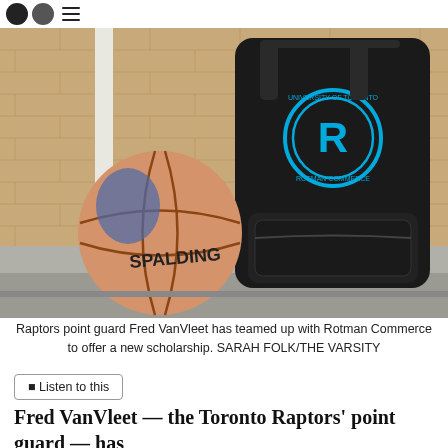[Figure (photo): A Spalding basketball and a black Rotman Commerce (University of Toronto) backpack leaning against a brick wall on a concrete step outdoors.]
Raptors point guard Fred VanVleet has teamed up with Rotman Commerce to offer a new scholarship. SARAH FOLK/THE VARSITY
■ Listen to this
Fred VanVleet — the Toronto Raptors’ point guard — has